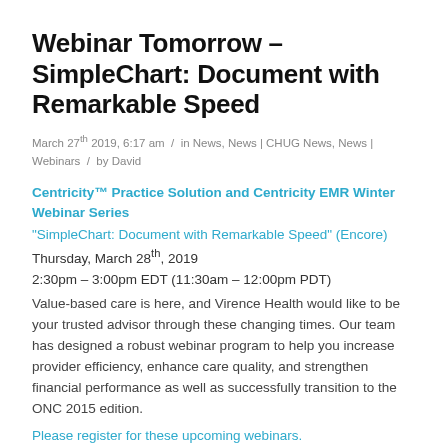Webinar Tomorrow – SimpleChart: Document with Remarkable Speed
March 27th 2019, 6:17 am  /  in News, News | CHUG News, News | Webinars  /  by David
Centricity™ Practice Solution and Centricity EMR Winter Webinar Series
"SimpleChart: Document with Remarkable Speed" (Encore)
Thursday, March 28th, 2019
2:30pm – 3:00pm EDT (11:30am – 12:00pm PDT)
Value-based care is here, and Virence Health would like to be your trusted advisor through these changing times. Our team has designed a robust webinar program to help you increase provider efficiency, enhance care quality, and strengthen financial performance as well as successfully transition to the ONC 2015 edition.
Please register for these upcoming webinars.